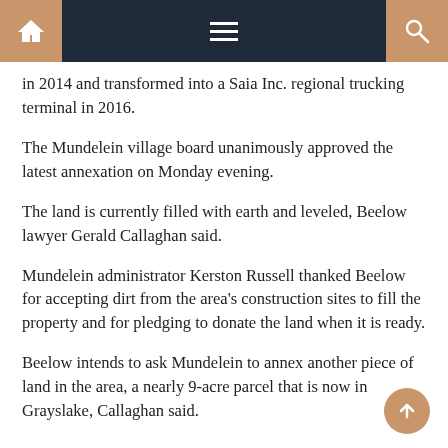Navigation bar with home, menu, and search icons
in 2014 and transformed into a Saia Inc. regional trucking terminal in 2016.
The Mundelein village board unanimously approved the latest annexation on Monday evening.
The land is currently filled with earth and leveled, Beelow lawyer Gerald Callaghan said.
Mundelein administrator Kerston Russell thanked Beelow for accepting dirt from the area’s construction sites to fill the property and for pledging to donate the land when it is ready.
Beelow intends to ask Mundelein to annex another piece of land in the area, a nearly 9-acre parcel that is now in Grayslake, Callaghan said.